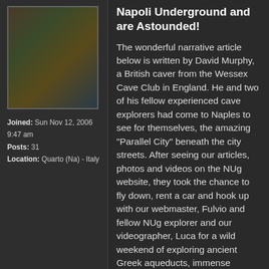[Figure (photo): User avatar showing a fantasy or artistic image of a figure in natural surroundings]
Joined: Sun Nov 12, 2006 9:47 am
Posts: 31
Location: Quarto (Na) - Italy
Napoli Underground and are Astounded!
The wonderful narrative article below is written by David Murphy, a British caver from the Wessex Cave Club in England. He and two of his fellow experienced cave explorers had come to Naples to see for themselves, the amazing "Parallel City" beneath the city streets. After seeing our articles, photos and videos on the NUg website, they took the chance to fly down, rent a car and hook up with our webmaster, Fulvio and fellow NUg explorer and our videographer, Luca for a wild weekend of exploring ancient Greek aqueducts, immense cavities where tuf sandstone was quarried thousands of years ago, and endless